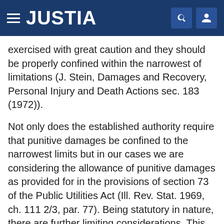JUSTIA
exercised with great caution and they should be properly confined within the narrowest of limitations (J. Stein, Damages and Recovery, Personal Injury and Death Actions sec. 183 (1972)).
Not only does the established authority require that punitive damages be confined to the narrowest limits but in our cases we are considering the allowance of punitive damages as provided for in the provisions of section 73 of the Public Utilities Act (Ill. Rev. Stat. 1969, ch. 111 2/3, par. 77). Being statutory in nature, there are further limiting considerations. This court has held that the Public Utilities Act is in derogation of the common law and nothing is to be read into it by intendment (Consumers Sanitary Coffee & Butter Stores v. Commerce Com. *151 (1932), 348 Ill. 615, 618). In Anderson v. Board of Education (1945), 390 Ill. 412, 422,